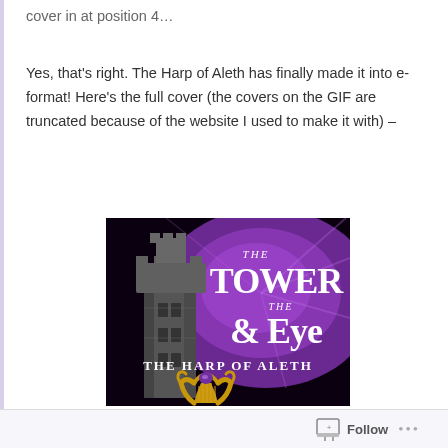cover in at position 4…
Yes, that's right. The Harp of Aleth has finally made it into e-format! Here's the full cover (the covers on the GIF are truncated because of the website I used to make it with) –
[Figure (illustration): Book cover for 'The Tower & The Eye: The Harp of Aleth'. Dark fantasy cover with a grey stone tower on the left against a purple glowing background. Large gothic text reads 'The Tower & The Eye' in white/silver. Below in white serif font: 'The Harp of Aleth'. At the bottom, a golden harp with a purple gemstone.]
Follow …